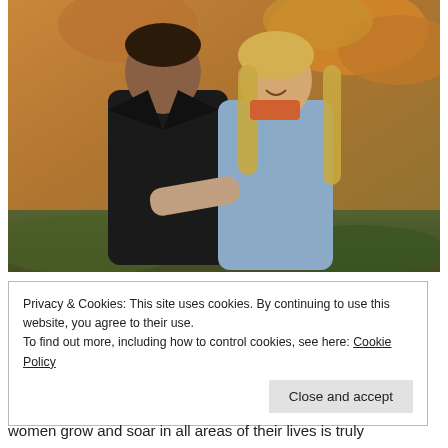[Figure (photo): A couple embracing outdoors in autumn. A woman with long blonde hair wearing a denim jacket smiles at the camera. A man in a black leather jacket stands behind her with his arms around her. Fall foliage (orange/red leaves) visible in the background.]
Privacy & Cookies: This site uses cookies. By continuing to use this website, you agree to their use.
To find out more, including how to control cookies, see here: Cookie Policy
Close and accept
women grow and soar in all areas of their lives is truly